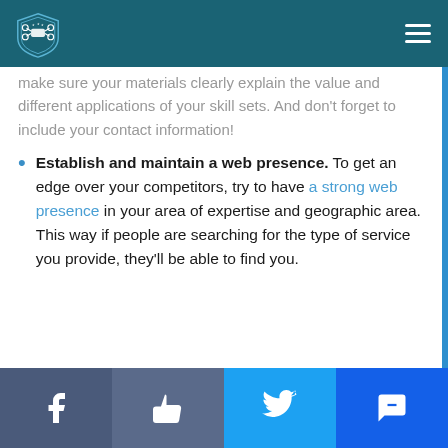UAV Coach
make sure your materials clearly explain the value and different applications of your skill sets. And don't forget to include your contact information!
Establish and maintain a web presence. To get an edge over your competitors, try to have a strong web presence in your area of expertise and geographic area. This way if people are searching for the type of service you provide, they'll be able to find you.
Facebook | Like | Twitter | SMS